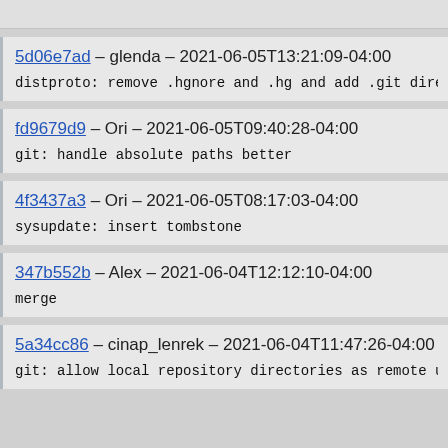5d06e7ad – glenda – 2021-06-05T13:21:09-04:00
distproto: remove .hgnore and .hg and add .git dire
fd9679d9 – Ori – 2021-06-05T09:40:28-04:00
git: handle absolute paths better
4f3437a3 – Ori – 2021-06-05T08:17:03-04:00
sysupdate: insert tombstone
347b552b – Alex – 2021-06-04T12:12:10-04:00
merge
5a34cc86 – cinap_lenrek – 2021-06-04T11:47:26-04:00
git: allow local repository directories as remote u